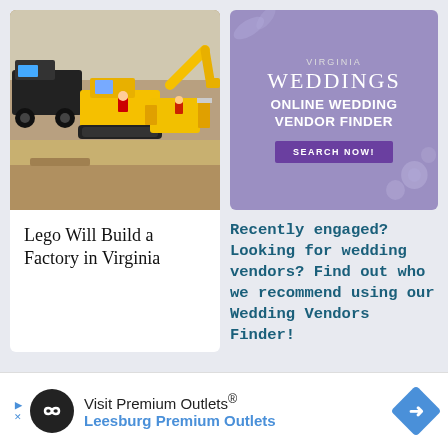[Figure (photo): Lego construction vehicles including a yellow excavator and bulldozer with other Lego figures on sandy ground]
Lego Will Build a Factory in Virginia
[Figure (infographic): Virginia Weddings Online Wedding Vendor Finder advertisement with purple background, floral accents, and Search Now button]
Recently engaged? Looking for wedding vendors? Find out who we recommend using our Wedding Vendors Finder!
[Figure (infographic): Advertisement banner: Visit Premium Outlets - Leesburg Premium Outlets with logo and blue diamond arrow icon]